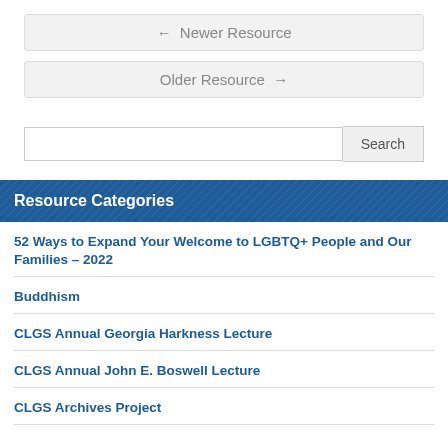← Newer Resource
Older Resource →
Search
Resource Categories
52 Ways to Expand Your Welcome to LGBTQ+ People and Our Families – 2022
Buddhism
CLGS Annual Georgia Harkness Lecture
CLGS Annual John E. Boswell Lecture
CLGS Archives Project